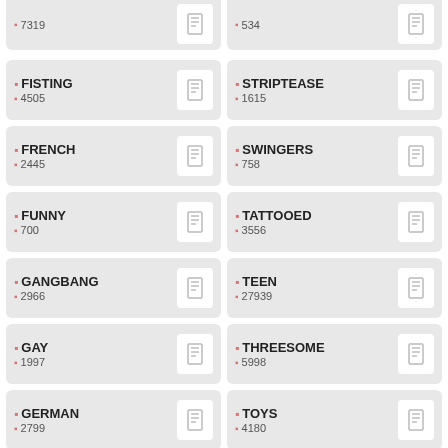7319
534
FISTING 4505
STRIPTEASE 1615
FRENCH 2445
SWINGERS 758
FUNNY 700
TATTOOED 3556
GANGBANG 2966
TEEN 27939
GAY 1997
THREESOME 5998
GERMAN 2799
TOYS 4180
GIRLFRIEND 5029
TRANSGENDER 1708